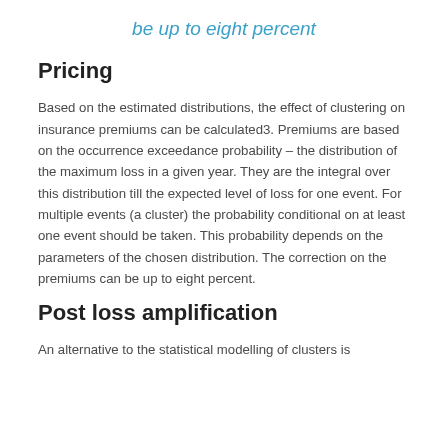be up to eight percent
Pricing
Based on the estimated distributions, the effect of clustering on insurance premiums can be calculated3. Premiums are based on the occurrence exceedance probability – the distribution of the maximum loss in a given year. They are the integral over this distribution till the expected level of loss for one event. For multiple events (a cluster) the probability conditional on at least one event should be taken. This probability depends on the parameters of the chosen distribution. The correction on the premiums can be up to eight percent.
Post loss amplification
An alternative to the statistical modelling of clusters is